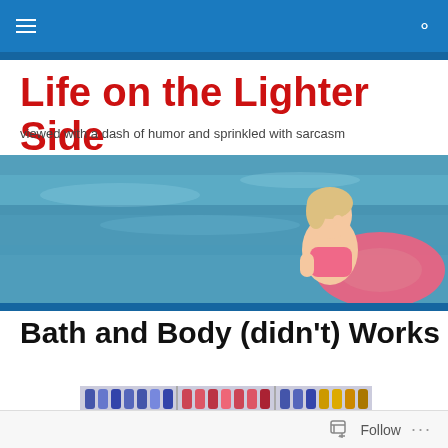Navigation bar with hamburger menu and search icon
Life on the Lighter Side
viewed with a dash of humor and sprinkled with sarcasm
[Figure (photo): A smiling girl in a pink inflatable ring floating in blue-green water at a beach or lake.]
Bath and Body (didn't) Works
[Figure (photo): Shelves stocked with Bath and Body Works hand soap and lotion bottles in various colors arranged in a store display.]
Follow ···